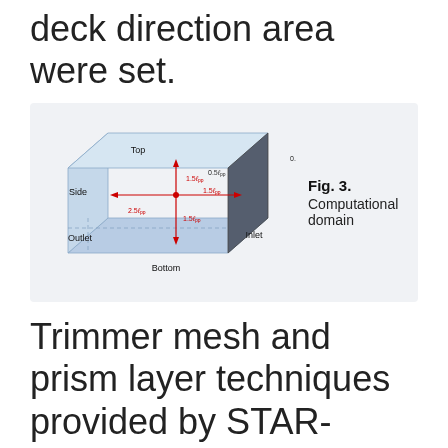deck direction area were set.
[Figure (engineering-diagram): 3D box diagram of computational domain showing labeled faces: Top, Side, Outlet, Bottom, Inlet, with red arrows indicating distances 0.5L_pp, 1.5L_pp (multiple), 2.5L_pp from a central point on the hull model.]
Fig. 3. Computational domain
Trimmer mesh and prism layer techniques provided by STAR-CCM+ were used to generate the grid. The